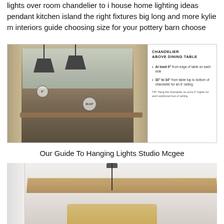lights over room chandelier to i house home lighting ideas pendant kitchen island the right fixtures big long and more kylie m interiors guide choosing size for your pottery barn choose
[Figure (infographic): Dining room with two pendant chandeliers above a wooden table, annotated with measurement guidelines. Right panel shows text: CHANDELIER ABOVE DINING TABLE. Bullets: At least 6 inches from edge of table on each side; 33 to 34 inches from table top to bottom of chandelier for an 8 foot ceiling. Tip: Hang the chandelier an extra 3 inches higher for each additional foot of ceiling.]
Our Guide To Hanging Lights Studio Mcgee
[Figure (photo): Interior photo showing a white ceiling with a wooden beam and a pendant light hanging on a black cord from a circular canopy, with the bottom of a chandelier partially visible.]